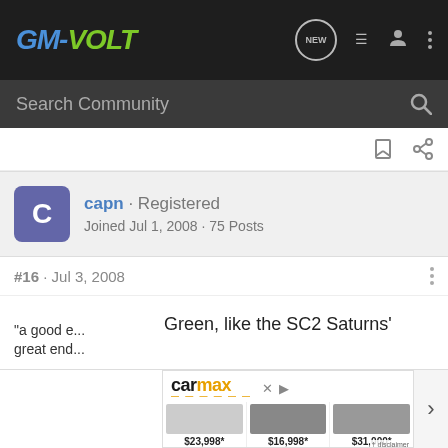GM-VOLT
Search Community
capn · Registered
Joined Jul 1, 2008 · 75 Posts
#16 · Jul 3, 2008
A nice dark hunter Green, like the SC2 Saturns' have.
[Figure (screenshot): CarMax advertisement banner showing three cars with prices: $23,998*, $16,998*, $31,000* with disclaimer label]
"a good e... a great end...